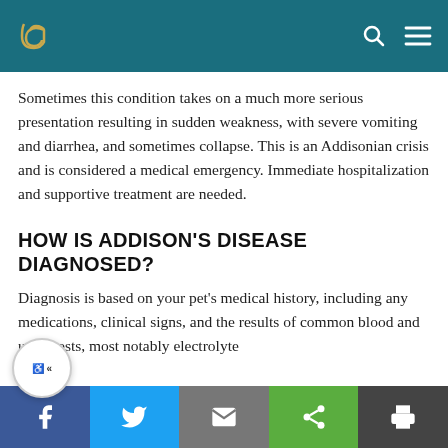[Logo] [Search icon] [Menu icon]
Sometimes this condition takes on a much more serious presentation resulting in sudden weakness, with severe vomiting and diarrhea, and sometimes collapse. This is an Addisonian crisis and is considered a medical emergency. Immediate hospitalization and supportive treatment are needed.
HOW IS ADDISON'S DISEASE DIAGNOSED?
Diagnosis is based on your pet's medical history, including any medications, clinical signs, and the results of common blood and urine tests, most notably electrolyte
[Facebook] [Twitter] [Email] [Share] [Print]